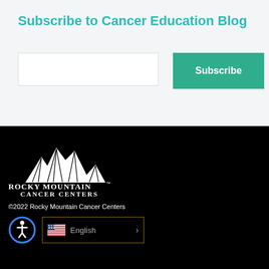Subscribe to Cancer Education Blog
[Figure (screenshot): Email input field (empty) and a teal Subscribe button]
[Figure (logo): Rocky Mountain Cancer Centers logo - white mountains and text on black background]
©2022 Rocky Mountain Cancer Centers
[Figure (other): Accessibility icon (person in circle) and English language selector with US flag and arrow]